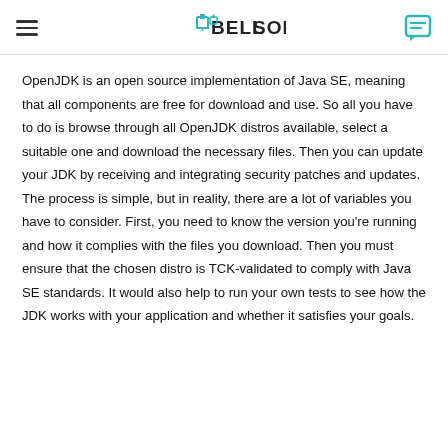BellSoft
OpenJDK is an open source implementation of Java SE, meaning that all components are free for download and use. So all you have to do is browse through all OpenJDK distros available, select a suitable one and download the necessary files. Then you can update your JDK by receiving and integrating security patches and updates. The process is simple, but in reality, there are a lot of variables you have to consider. First, you need to know the version you're running and how it complies with the files you download. Then you must ensure that the chosen distro is TCK-validated to comply with Java SE standards. It would also help to run your own tests to see how the JDK works with your application and whether it satisfies your goals.